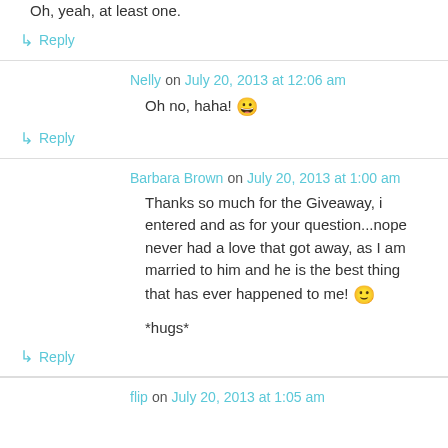Oh, yeah, at least one.
↳ Reply
Nelly on July 20, 2013 at 12:06 am
Oh no, haha! 😀
↳ Reply
Barbara Brown on July 20, 2013 at 1:00 am
Thanks so much for the Giveaway, i entered and as for your question...nope never had a love that got away, as I am married to him and he is the best thing that has ever happened to me! 🙂
*hugs*
↳ Reply
flip on July 20, 2013 at 1:05 am